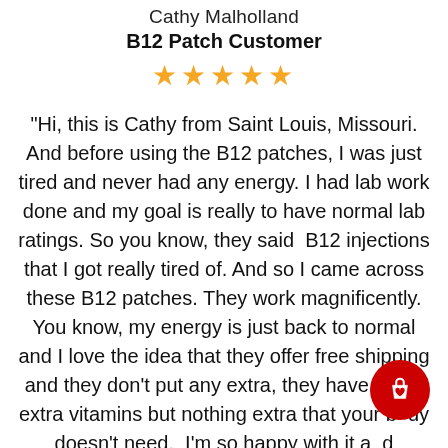Cathy Malholland
B12 Patch Customer
★★★★★
“Hi, this is Cathy from Saint Louis, Missouri. And before using the B12 patches, I was just tired and never had any energy. I had lab work done and my goal is really to have normal lab ratings. So you know, they said  B12 injections that I got really tired of. And so I came across these B12 patches. They work magnificently. You know, my energy is just back to normal and I love the idea that they offer free shipping and they don’t put any extra, they have some extra vitamins but nothing extra that your body doesn’t need.  I’m so happy with it and whenever my friends start talking about or